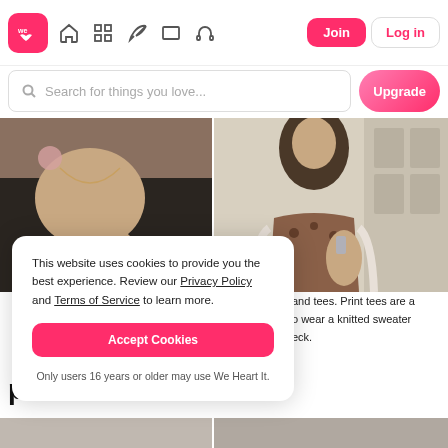We Heart It navigation bar with Join and Log in buttons
Search for things you love...
[Figure (screenshot): Two fashion photos side by side: left shows a woman with jewelry and black outfit close up, right shows a woman in leopard print top at a cafe]
This website uses cookies to provide you the best experience. Review our Privacy Policy and Terms of Service to learn more.
Accept Cookies
Only users 16 years or older may use We Heart It.
and tees. Print tees are a o wear a knitted sweater eck.
pants
[Figure (photo): Bottom portion of two fashion images partially visible]